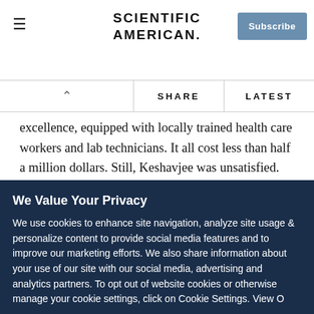SCIENTIFIC AMERICAN
excellence, equipped with locally trained health care workers and lab technicians. It all cost less than half a million dollars. Still, Keshavjee was unsatisfied. He knew one hospital cannot cure an epidemic.
Keshavjee didn't set out to be a globe-trotter, but today he flies around the world showing people that what they thought was impossible in health care for some of the poorest regions
We Value Your Privacy
We use cookies to enhance site navigation, analyze site usage & personalize content to provide social media features and to improve our marketing efforts. We also share information about your use of our site with our social media, advertising and analytics partners. To opt out of website cookies or otherwise manage your cookie settings, click on Cookie Settings. View O